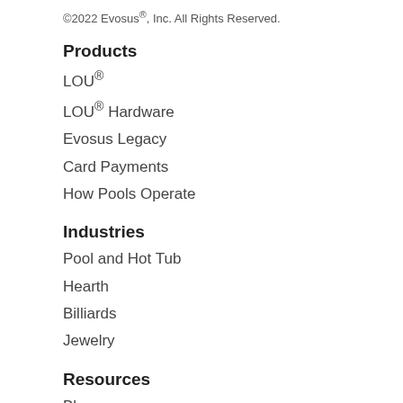©2022 Evosus®, Inc. All Rights Reserved.
Products
LOU®
LOU® Hardware
Evosus Legacy
Card Payments
How Pools Operate
Industries
Pool and Hot Tub
Hearth
Billiards
Jewelry
Resources
Blog